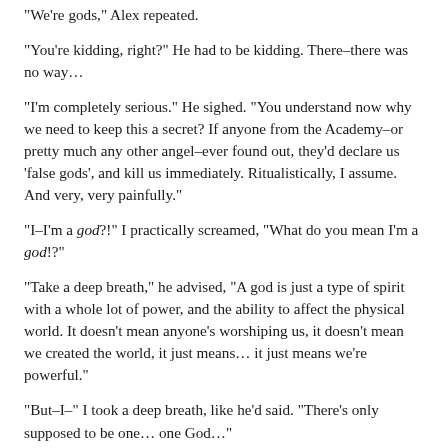“We’re gods,” Alex repeated.
“You’re kidding, right?” He had to be kidding. There–there was no way…
“I’m completely serious.” He sighed. “You understand now why we need to keep this a secret? If anyone from the Academy–or pretty much any other angel–ever found out, they’d declare us ‘false gods’, and kill us immediately. Ritualistically, I assume. And very, very painfully.”
“I–I’m a god?!” I practically screamed, “What do you mean I’m a god!?”
“Take a deep breath,” he advised, “A god is just a type of spirit with a whole lot of power, and the ability to affect the physical world. It doesn’t mean anyone’s worshiping us, it doesn’t mean we created the world, it just means… it just means we’re powerful.”
“But–I–” I took a deep breath, like he’d said. “There’s only supposed to be one… one God…”